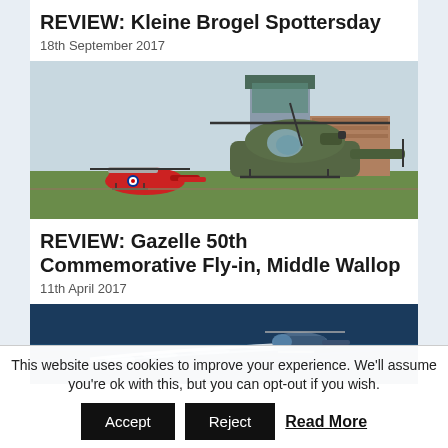REVIEW: Kleine Brogel Spottersday
18th September 2017
[Figure (photo): Two helicopters on a grassy airfield with a control tower and brick building in the background. A small red helicopter is on the left, and a larger green military helicopter is on the right.]
REVIEW: Gazelle 50th Commemorative Fly-in, Middle Wallop
11th April 2017
[Figure (photo): A helicopter flying low over water, leaving a trail of splashing water in a blue/dark sea.]
This website uses cookies to improve your experience. We'll assume you're ok with this, but you can opt-out if you wish.